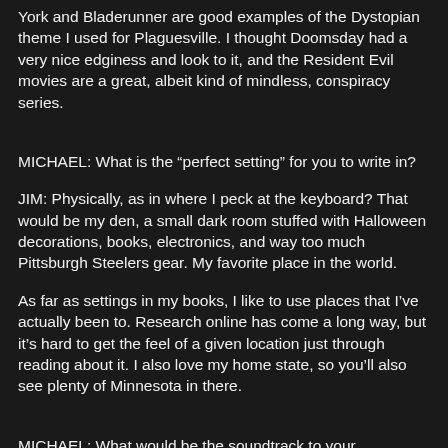York and Bladerunner are good examples of the Dystopian theme I used for Plaguesville. I thought Doomsday had a very nice edginess and look to it, and the Resident Evil movies are a great, albeit kind of mindless, conspiracy series.
MICHAEL: What is the “perfect setting” for you to write in?
JIM: Physically, as in where I peck at the keyboard? That would be my den, a small dark room stuffed with Halloween decorations, books, electronics, and way too much Pittsburgh Steelers gear. My favorite place in the world.
As far as settings in my books, I like to use places that I’ve actually been to. Research online has come a long way, but it’s hard to get the feel of a given location just through reading about it. I also love my home state, so you’ll also see plenty of Minnesota in there.
MICHAEL: What would be the soundtrack to your